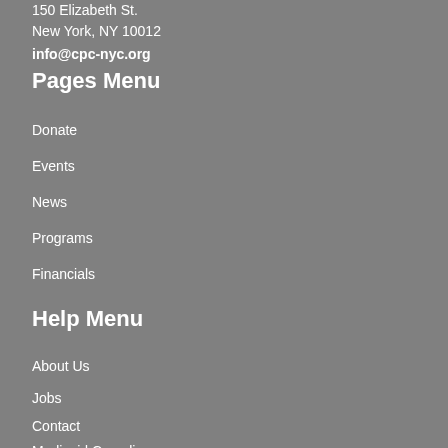150 Elizabeth St.
New York, NY 10012
info@cpc-nyc.org
Pages Menu
Donate
Events
News
Programs
Financials
Help Menu
About Us
Jobs
Contact
Medicaid Compliance